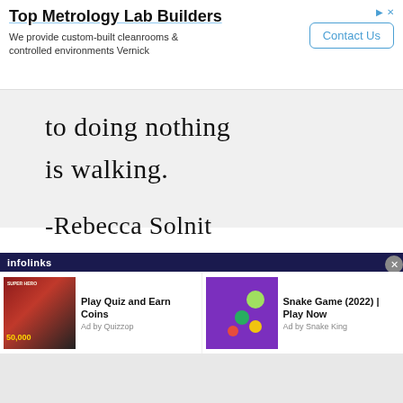[Figure (screenshot): Top advertisement banner for Top Metrology Lab Builders with Contact Us button]
to doing nothing
is walking.
-Rebecca Solnit
[Figure (screenshot): Infolinks bottom ad bar with two ad units: 'Play Quiz and Earn Coins' by Quizzop and 'Snake Game (2022) | Play Now' by Snake King]